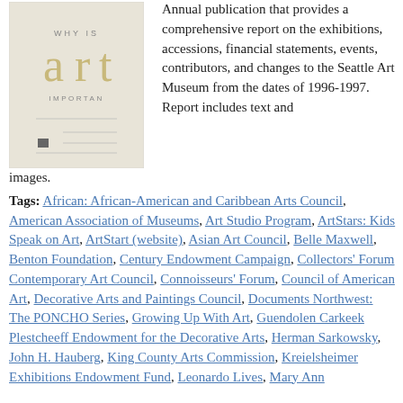[Figure (illustration): Book cover showing 'WHY IS art IMPORTANT' text with minimal design]
Annual publication that provides a comprehensive report on the exhibitions, accessions, financial statements, events, contributors, and changes to the Seattle Art Museum from the dates of 1996-1997. Report includes text and images.
Tags: African: African-American and Caribbean Arts Council, American Association of Museums, Art Studio Program, ArtStars: Kids Speak on Art, ArtStart (website), Asian Art Council, Belle Maxwell, Benton Foundation, Century Endowment Campaign, Collectors' Forum Contemporary Art Council, Connoisseurs' Forum, Council of American Art, Decorative Arts and Paintings Council, Documents Northwest: The PONCHO Series, Growing Up With Art, Guendolen Carkeek Plestcheeff Endowment for the Decorative Arts, Herman Sarkowsky, John H. Hauberg, King County Arts Commission, Kreielsheimer Exhibitions Endowment Fund, Leonardo Lives, Mary Ann